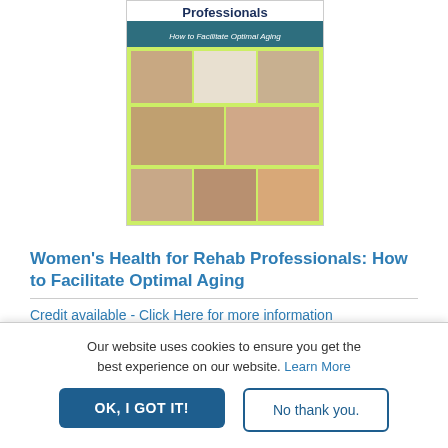[Figure (illustration): Book cover for 'Women's Health for Rehab Professionals: How to Facilitate Optimal Aging' showing a green background with a grid of 7 headshot photos of women professionals.]
Women's Health for Rehab Professionals: How to Facilitate Optimal Aging
Credit available - Click Here for more information
Speakers: Aimee Bailey, PT, DPT, RYT-200hour | Jessica Hill, PT, DPT, MSPT, CSCS, SFMA, FMS | Elizabeth Frey,
Our website uses cookies to ensure you get the best experience on our website. Learn More
OK, I GOT IT!
No thank you.